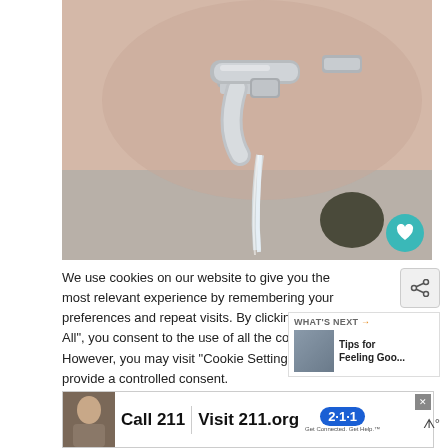[Figure (photo): Close-up photo of a chrome water faucet with water flowing from it into a sink, blurred background]
We use cookies on our website to give you the most relevant experience by remembering your preferences and repeat visits. By clicking “Accept All”, you consent to the use of all the cookies. However, you may visit “Cookie Settings” to provide a controlled consent.
[Figure (infographic): WHAT’S NEXT panel with thumbnail image of person in red jacket and text: Tips for Feeling Goo...]
[Figure (infographic): Advertisement banner: Call 211 | Visit 211.org with 2-1-1 badge. Shows elderly man photo on left side.]